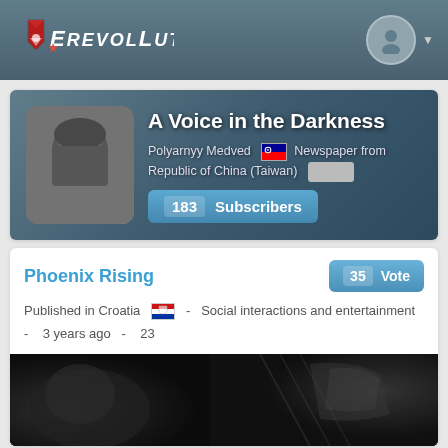Erevollution
[Figure (screenshot): User profile avatar: black and white photo of a bearded man]
A Voice in the Darkness
Polyarnyy Medved [Taiwan flag] Newspaper from Republic of China (Taiwan)
183 Subscribers
Phoenix Rising
35 Vote
Published in Croatia [Croatia flag] - Social interactions and entertainment - 3 years ago - 23
[Figure (photo): Dark dramatic banner image showing warriors in armor, black and white with dark tones]